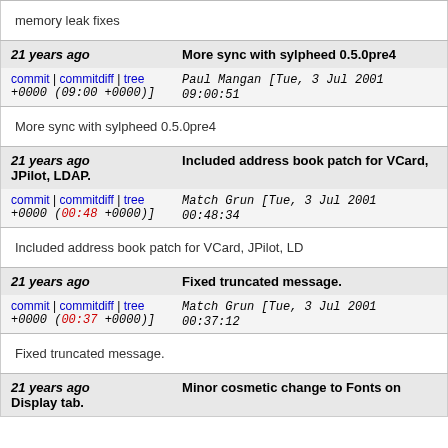memory leak fixes
21 years ago   More sync with sylpheed 0.5.0pre4
commit | commitdiff | tree   Paul Mangan [Tue, 3 Jul 2001 09:00:51 +0000 (09:00 +0000)]
More sync with sylpheed 0.5.0pre4
21 years ago   Included address book patch for VCard, JPilot, LDAP.
commit | commitdiff | tree   Match Grun [Tue, 3 Jul 2001 00:48:34 +0000 (00:48 +0000)]
Included address book patch for VCard, JPilot, LD
21 years ago   Fixed truncated message.
commit | commitdiff | tree   Match Grun [Tue, 3 Jul 2001 00:37:12 +0000 (00:37 +0000)]
Fixed truncated message.
21 years ago   Minor cosmetic change to Fonts on Display tab.